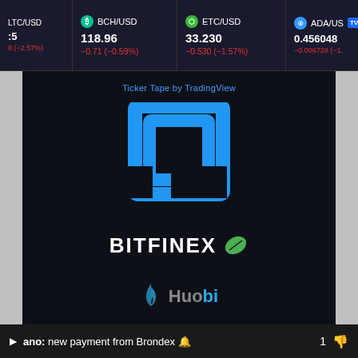[Figure (screenshot): Cryptocurrency ticker bar showing LTC/USD, BCH/USD (118.96, -0.71 (-0.59%)), ETC/USD (33.230, -0.530 (-1.57%)), ADA/USD (0.456048, -0.006728), with TradingView branding]
[Figure (screenshot): Dark background panel showing TradingView Ticker Tape widget label, CoinLib square bracket logo in blue, BITFINEX logo with green leaf, and Huobi logo with blue flame]
[Figure (screenshot): Second dark panel showing LXIR logo on white background]
ano: new payment from Brondex 🔔  1 👎